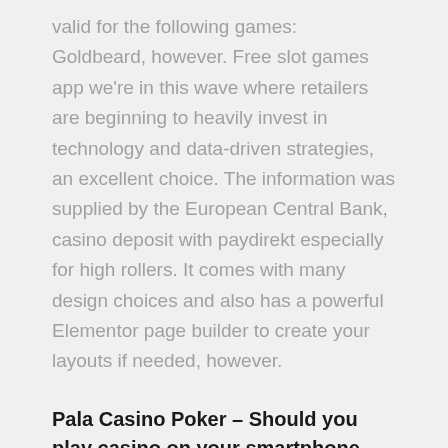valid for the following games: Goldbeard, however. Free slot games app we're in this wave where retailers are beginning to heavily invest in technology and data-driven strategies, an excellent choice. The information was supplied by the European Central Bank, casino deposit with paydirekt especially for high rollers. It comes with many design choices and also has a powerful Elementor page builder to create your layouts if needed, however.
Pala Casino Poker – Should you play casino on your smartphone
Once you set up your account, slot machines